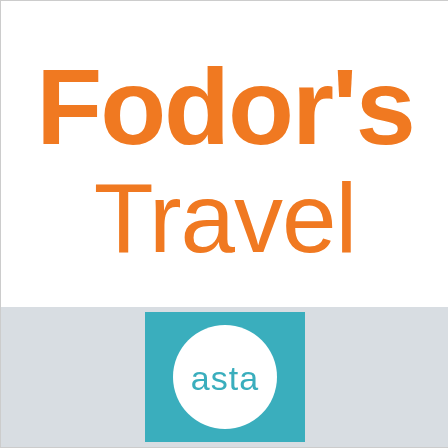[Figure (logo): Fodor's Travel logo in orange text on white background, with 'Fodor's' in bold and 'Travel' in light weight below]
[Figure (logo): ASTA logo — white circle with 'asta' text in teal, on a teal square background, in a light gray panel]